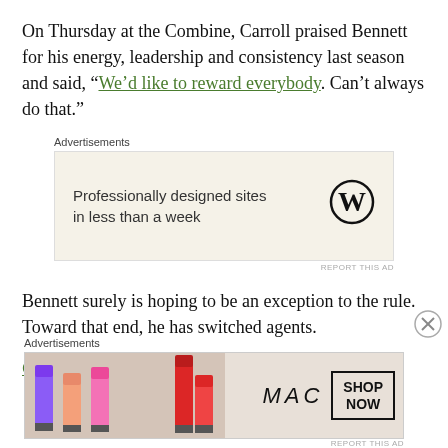On Thursday at the Combine, Carroll praised Bennett for his energy, leadership and consistency last season and said, “We’d like to reward everybody. Can’t always do that.”
[Figure (other): Advertisements banner: WordPress ad with text 'Professionally designed sites in less than a week' and WordPress logo]
Bennett surely is hoping to be an exception to the rule. Toward that end, he has switched agents.
Continue reading →
[Figure (other): Advertisements banner: MAC cosmetics ad showing lipsticks with SHOP NOW box]